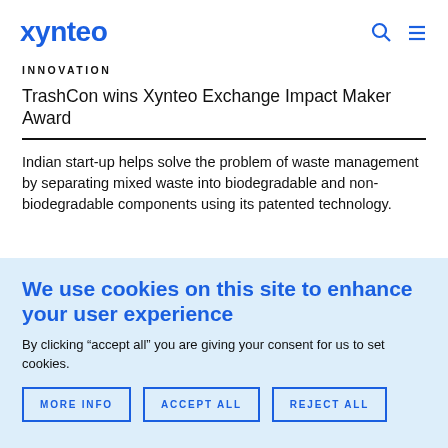xynteo
INNOVATION
TrashCon wins Xynteo Exchange Impact Maker Award
Indian start-up helps solve the problem of waste management by separating mixed waste into biodegradable and non-biodegradable components using its patented technology.
We use cookies on this site to enhance your user experience
By clicking “accept all” you are giving your consent for us to set cookies.